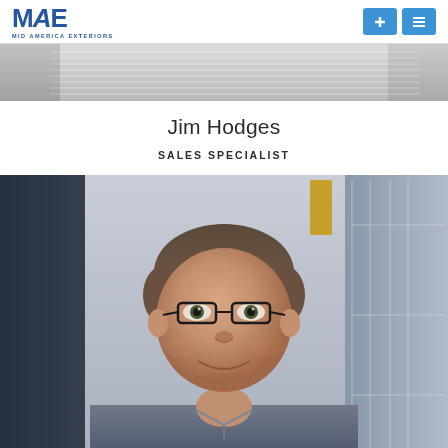MAE MID AMERICA EXTERIORS
[Figure (photo): Top banner showing architectural siding/exterior texture in light gray]
Jim Hodges
SALES SPECIALIST
[Figure (photo): Professional headshot photo of Jim Hodges, a middle-aged man with short brown hair, glasses, and a blue-gray shirt, smiling in an office/showroom setting]